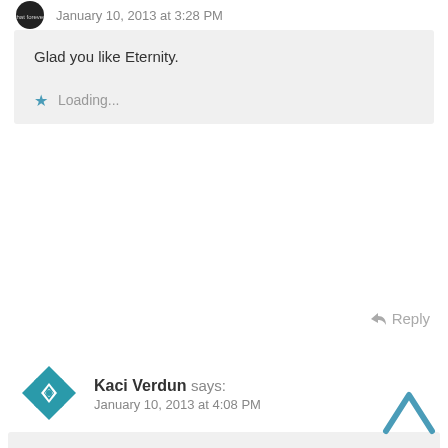January 10, 2013 at 3:28 PM
Glad you like Eternity.
Loading...
Reply
Kaci Verdun says:
January 10, 2013 at 4:08 PM
Sounds like a great read! I love reading wintery/snowbound books when the charachters have now were else to go or sleep and have to deal with each other! Thanks for the chance to win!

kacidesigns AT yahoo DOT com